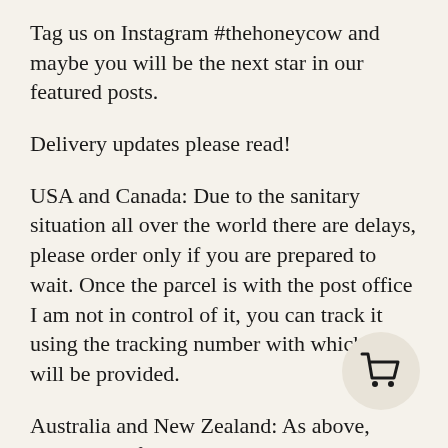Tag us on Instagram #thehoneycow and maybe you will be the next star in our featured posts.
Delivery updates please read!
USA and Canada: Due to the sanitary situation all over the world there are delays, please order only if you are prepared to wait. Once the parcel is with the post office I am not in control of it, you can track it using the tracking number with which you will be provided.
Australia and New Zealand: As above, delays are of up to 4 weeks at the moment.
Asia: As above, delays of up to 4 weeks at the moment.
Information pour la France:
[Figure (illustration): Shopping cart button icon in a circular beige/tan button]